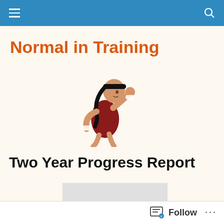Normal in Training — site header bar
Normal in Training
[Figure (illustration): Cartoon illustration of a woman running, wearing a red tank top, black headband, and wristbands, with a ponytail.]
Two Year Progress Report
[Figure (other): Gray placeholder/advertisement block]
Follow ···